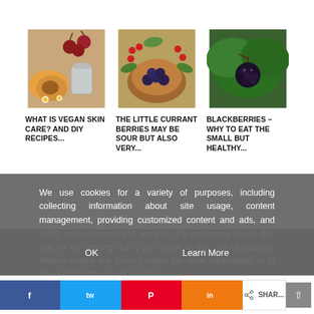[Figure (photo): Photo of cherries, apricot, milk/cream in glass jar, and daisy flowers on wooden surface - vegan skin care ingredients]
[Figure (photo): Photo of assorted berries including red currants and blueberries in wooden bowl with green leaves]
[Figure (photo): Photo of blackberries on branch with green leaves]
WHAT IS VEGAN SKIN CARE? AND DIY RECIPES...
THE LITTLE CURRANT BERRIES MAY BE SOUR BUT ALSO VERY...
BLACKBERRIES – WHY TO EAT THE SMALL BUT HEALTHY...
We use cookies for a variety of purposes, including collecting information about site usage, content management, providing customized content and ads, and traffic measurement and analysis. By continuing to use this site, or by clicking "OK", you agree to the use of cookies. Please review our privacy policy for more information or to opt-out from the use of cookies.
OK
Learn More